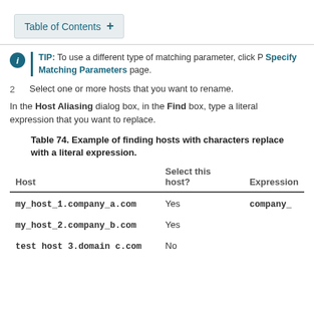Table of Contents +
TIP: To use a different type of matching parameter, click P Specify Matching Parameters page.
2  Select one or more hosts that you want to rename.
In the Host Aliasing dialog box, in the Find box, type a literal expression that you want to replace.
Table 74. Example of finding hosts with characters replace with a literal expression.
| Host | Select this host? | Expression |
| --- | --- | --- |
| my_host_1.company_a.com | Yes | company_ |
| my_host_2.company_b.com | Yes |  |
| test host 3.domain c.com | No |  |